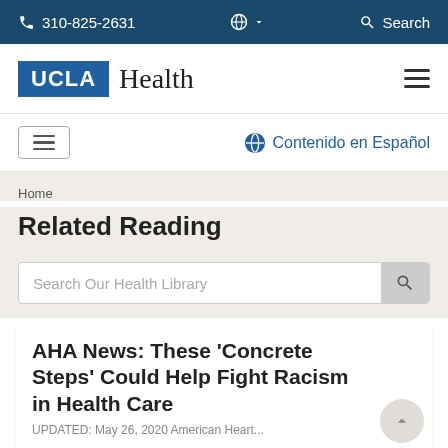310-825-2631  Contenido en Español  Search
[Figure (logo): UCLA Health logo with blue UCLA box and serif Health text]
[Figure (other): Hamburger menu icon and Contenido en Español globe link]
Home
Related Reading
Search Our Health Library
AHA News: These 'Concrete Steps' Could Help Fight Racism in Health Care
UPDATED: May 26, 2020 American Heart...